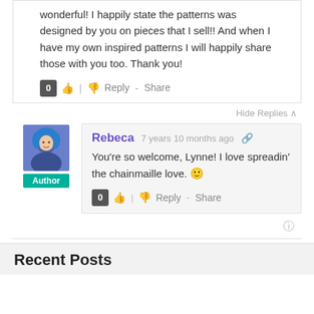wonderful! I happily state the patterns was designed by you on pieces that I sell!! And when I have my own inspired patterns I will happily share those with you too. Thank you!
Hide Replies ^
Rebeca
7 years 10 months ago
You're so welcome, Lynne! I love spreadin' the chainmaille love. 🙂
Recent Posts